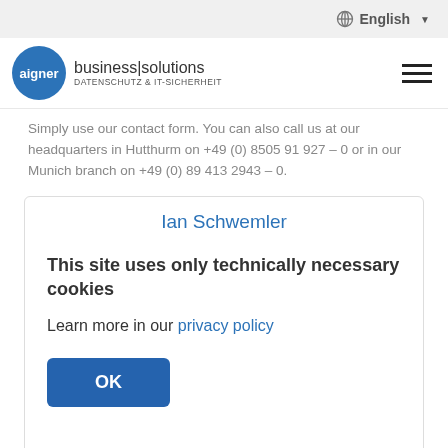English (language selector)
[Figure (logo): Aigner business|solutions DATENSCHUTZ & IT-SICHERHEIT logo with blue circle and hamburger menu]
Simply use our contact form. You can also call us at our headquarters in Hutthurm on +49 (0) 8505 91 927 – 0 or in our Munich branch on +49 (0) 89 413 2943 – 0.
Ian Schwemler
This site uses only technically necessary cookies
Learn more in our privacy policy
OK
kennen. Seine Kreativität, Talent für Bildbearbeitung und Leidenschaft für Videoschnitt